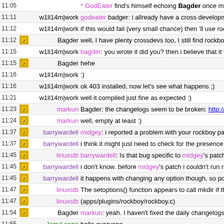11:05 * GodEater find's himself echoing Bagder once more
11:11 w1ll14m|work godeater badger: i allready have a cross development config
11:12 w1ll14m|work if this would fail (very small chance) then 'll use rockboxdev
11:12 [icon] Bagder well, I have plenty crossdevs too, I still find rockboxdev sm
11:15 w1ll14m|work bagder: you wrote it did you? then i believe that it works bet
11:15 [icon] Bagder hehe
11:16 w1ll14m|work :)
11:16 w1ll14m|work ok 403 installed, now let's see what happens ;)
11:21 w1ll14m|work well it compiled just fine as expected :)
11:23 [icon] markun Bagder: the changelogs seem to be broken: http://www.rockb
11:24 [icon] markun well, empty at least :)
11:37 [icon] barrywardell midgey: i reported a problem with your rockboy patch ;)
11:37 [icon] barrywardell i think it might just need to check for the presence of the /.rc
11:45 [icon] linuxstb barrywardell: Is that bug specific to midgey's patch?
11:45 [icon] barrywardell i don't know. before midgey's patch i couldn't run rockboy o
11:45 [icon] barrywardell it happens with changing any option though, so possibly not
11:47 [icon] linuxstb The setoptions() function appears to call mkdir if the rockbo
11:47 [icon] linuxstb (apps/plugins/rockboy/rockboy.c)
11:54 [icon] Bagder markun: yeah. I haven't fixed the daily changelogs yet
11:55 JerryLange hello everyone
11:56 [icon] barrywardell linuxstb: it does get created. but i seem to get a crash if it do
11:57 [icon] markun Strange talk about Zune hacking :) http://www.zuneboards.c
11:58 [icon] linuxstb Isn't all Zune hacking talk strange?